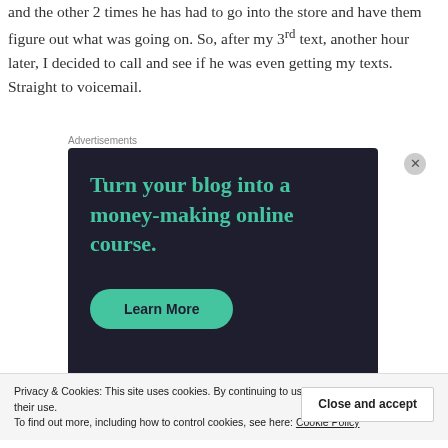and the other 2 times he has had to go into the store and have them figure out what was going on. So, after my 3rd text, another hour later, I decided to call and see if he was even getting my texts. Straight to voicemail.
Advertisements
[Figure (other): Advertisement banner with dark background reading 'Turn your blog into a money-making online course.' with a teal 'Learn More' button.]
Privacy & Cookies: This site uses cookies. By continuing to use this website, you agree to their use.
To find out more, including how to control cookies, see here: Cookie Policy